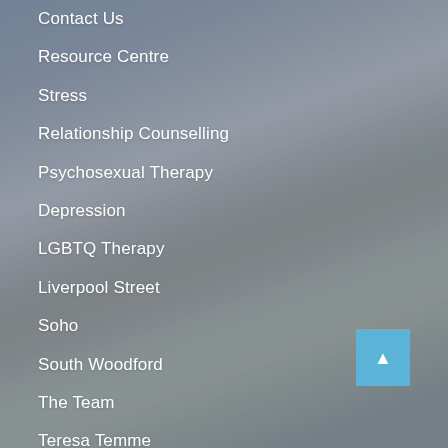Contact Us
Resource Centre
Stress
Relationship Counselling
Psychosexual Therapy
Depression
LGBTQ Therapy
Liverpool Street
Soho
South Woodford
The Team
Teresa Temme
Rene De Barr
Sylvia Davies